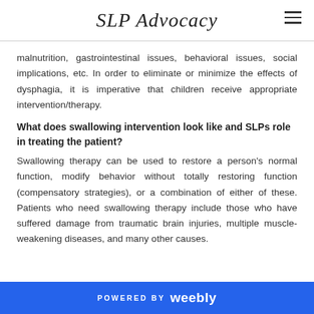SLP Advocacy
malnutrition, gastrointestinal issues, behavioral issues, social implications, etc. In order to eliminate or minimize the effects of dysphagia, it is imperative that children receive appropriate intervention/therapy.
What does swallowing intervention look like and SLPs role in treating the patient?
Swallowing therapy can be used to restore a person's normal function, modify behavior without totally restoring function (compensatory strategies), or a combination of either of these. Patients who need swallowing therapy include those who have suffered damage from traumatic brain injuries, multiple muscle-weakening diseases, and many other causes.
POWERED BY weebly